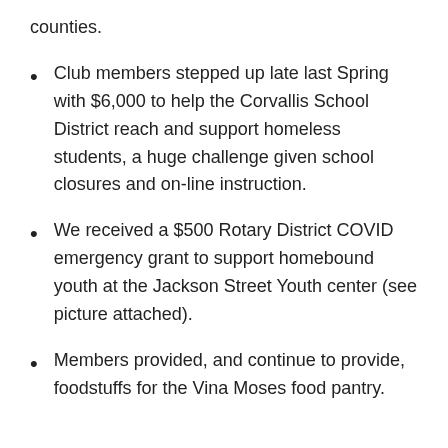counties.
Club members stepped up late last Spring with $6,000 to help the Corvallis School District reach and support homeless students, a huge challenge given school closures and on-line instruction.
We received a $500 Rotary District COVID emergency grant to support homebound youth at the Jackson Street Youth center (see picture attached).
Members provided, and continue to provide, foodstuffs for the Vina Moses food pantry.